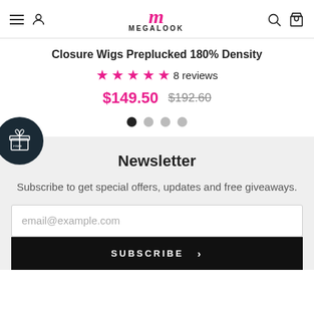MEGALOOK
Closure Wigs Preplucked 180% Density
★★★★★ 8 reviews
$149.50  $192.60
[Figure (other): Carousel pagination dots, 4 dots with first active]
Newsletter
Subscribe to get special offers, updates and free giveaways.
email@example.com
SUBSCRIBE >